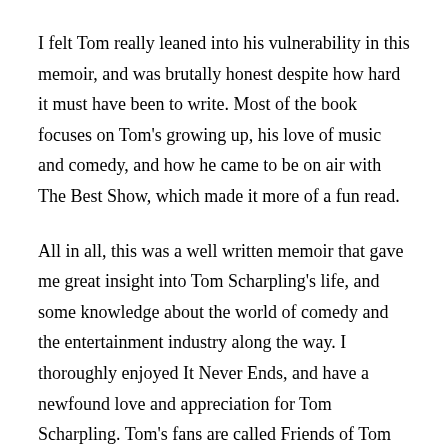I felt Tom really leaned into his vulnerability in this memoir, and was brutally honest despite how hard it must have been to write. Most of the book focuses on Tom's growing up, his love of music and comedy, and how he came to be on air with The Best Show, which made it more of a fun read.
All in all, this was a well written memoir that gave me great insight into Tom Scharpling's life, and some knowledge about the world of comedy and the entertainment industry along the way. I thoroughly enjoyed It Never Ends, and have a newfound love and appreciation for Tom Scharpling. Tom's fans are called Friends of Tom (FOT), and he's found a new friend in me with this book.
I received this book courtesy of Abrams, via Manda Group, and was delighted for the opportunity to read